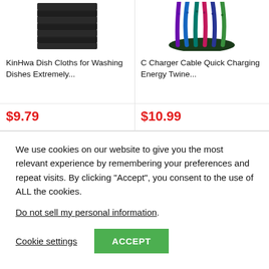[Figure (photo): Stack of black dish cloths/microfiber towels folded neatly]
KinHwa Dish Cloths for Washing Dishes Extremely...
$9.79
[Figure (photo): Colorful braided USB-C charger cables fanned out]
C Charger Cable Quick Charging Energy Twine...
$10.99
We use cookies on our website to give you the most relevant experience by remembering your preferences and repeat visits. By clicking “Accept”, you consent to the use of ALL the cookies.
Do not sell my personal information.
Cookie settings
ACCEPT